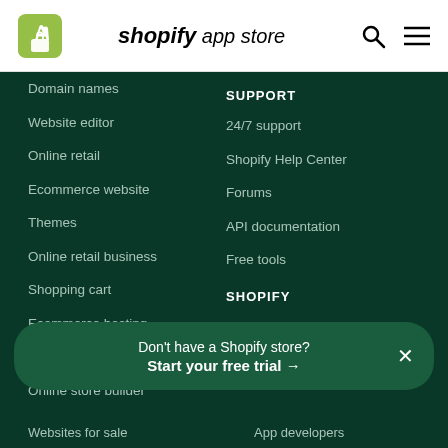[Figure (logo): Shopify App Store logo with green shopping bag icon, bold italic 'shopify' text and 'app store' in light italic]
Domain names
Website editor
Online retail
Ecommerce website
Themes
Online retail business
Shopping cart
Ecommerce hosting
Mobile commerce
Online store builder
SUPPORT
24/7 support
Shopify Help Center
Forums
API documentation
Free tools
SHOPIFY
Contact
Partner program
Don't have a Shopify store? Start your free trial →
App developers
Websites for sale